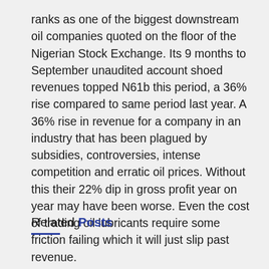ranks as one of the biggest downstream oil companies quoted on the floor of the Nigerian Stock Exchange. Its 9 months to September unaudited account shoed revenues topped N61b this period, a 36% rise compared to same period last year. A 36% rise in revenue for a company in an industry that has been plagued by subsidies, controversies, intense competition and erratic oil prices. Without this their 22% dip in gross profit year on year may have been worse. Even the cost of trading oil lubricants require some friction failing which it will just slip past revenue.
Related Posts